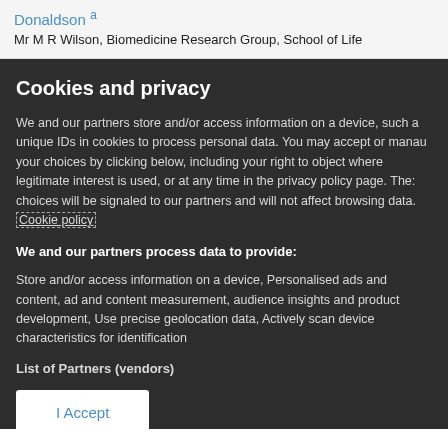Donaldson a
Mr M R Wilson, Biomedicine Research Group, School of Life
Cookies and privacy
We and our partners store and/or access information on a device, such as unique IDs in cookies to process personal data. You may accept or manage your choices by clicking below, including your right to object where legitimate interest is used, or at any time in the privacy policy page. These choices will be signaled to our partners and will not affect browsing data. Cookie policy
We and our partners process data to provide:
Store and/or access information on a device, Personalised ads and content, ad and content measurement, audience insights and product development, Use precise geolocation data, Actively scan device characteristics for identification
List of Partners (vendors)
I Accept